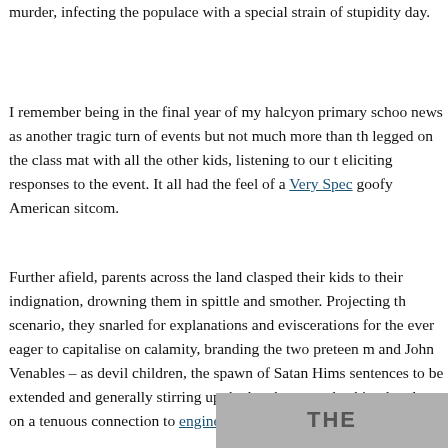murder, infecting the populace with a special strain of stupidity day.
I remember being in the final year of my halcyon primary schoo news as another tragic turn of events but not much more than th legged on the class mat with all the other kids, listening to our t eliciting responses to the event. It all had the feel of a Very Spec goofy American sitcom.
Further afield, parents across the land clasped their kids to their indignation, drowning them in spittle and smother. Projecting th scenario, they snarled for explanations and eviscerations for the ever eager to capitalise on calamity, branding the two preteen m and John Venables – as devil children, the spawn of Satan Hims sentences to be extended and generally stirring up the lynch mo readership, they leapt on a tenuous connection to engineer a mo Play III.
[Figure (photo): Partial view of a grey-toned image showing text 'THE' visible at bottom right of page]